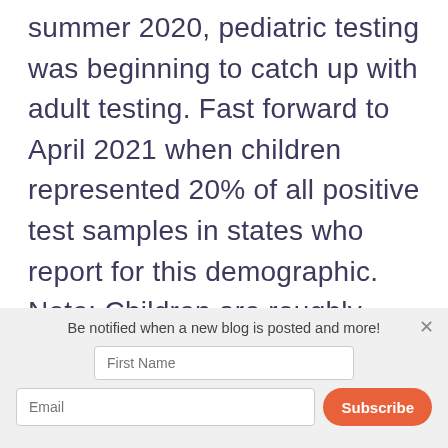summer 2020, pediatric testing was beginning to catch up with adult testing. Fast forward to April 2021 when children represented 20% of all positive test samples in states who report for this demographic. Note: Children are roughly 25% of all Americans.
Be notified when a new blog is posted and more!